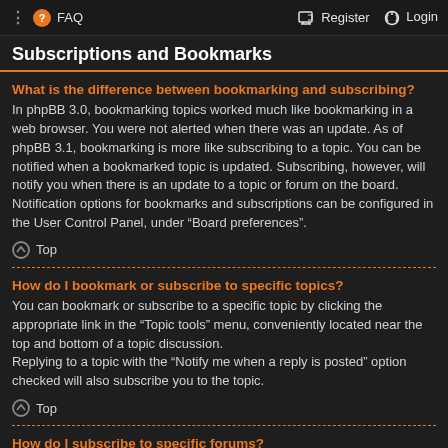⋮ ❓ FAQ   🖊 Register ⏻ Login
Subscriptions and Bookmarks
What is the difference between bookmarking and subscribing?
In phpBB 3.0, bookmarking topics worked much like bookmarking in a web browser. You were not alerted when there was an update. As of phpBB 3.1, bookmarking is more like subscribing to a topic. You can be notified when a bookmarked topic is updated. Subscribing, however, will notify you when there is an update to a topic or forum on the board. Notification options for bookmarks and subscriptions can be configured in the User Control Panel, under “Board preferences”.
⬆ Top
How do I bookmark or subscribe to specific topics?
You can bookmark or subscribe to a specific topic by clicking the appropriate link in the “Topic tools” menu, conveniently located near the top and bottom of a topic discussion.
Replying to a topic with the “Notify me when a reply is posted” option checked will also subscribe you to the topic.
⬆ Top
How do I subscribe to specific forums?
To subscribe to a specific forum, click the “Subscribe forum” link, at the bottom